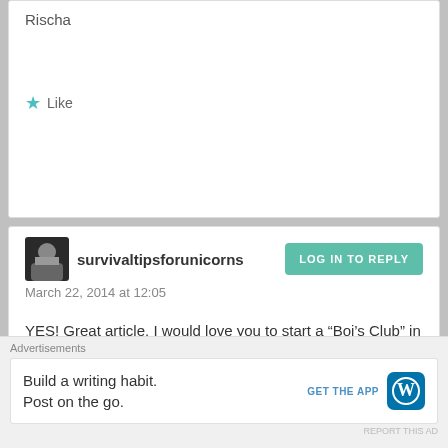Rischa
Like
survivaltipsforunicorns
LOG IN TO REPLY
March 22, 2014 at 12:05
YES! Great article. I would love you to start a “Boi’s Club” in the corporate world.
Like
LOG IN TO REPLY
Advertisements
Build a writing habit.
Post on the go.
GET THE APP
REPORT THIS AD